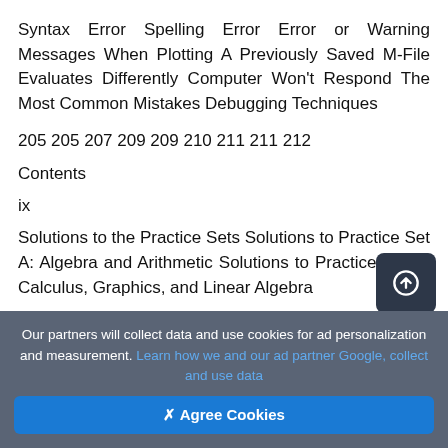Syntax Error Spelling Error Error or Warning Messages When Plotting A Previously Saved M-File Evaluates Differently Computer Won't Respond The Most Common Mistakes Debugging Techniques
205 205 207 209 209 210 211 211 212
Contents
ix
Solutions to the Practice Sets Solutions to Practice Set A: Algebra and Arithmetic Solutions to Practice Set B: Calculus, Graphics, and Linear Algebra